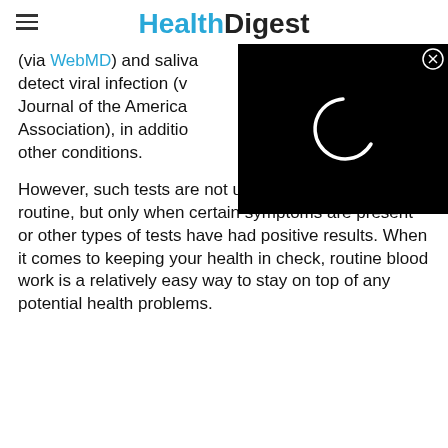HealthDigest
(via WebMD) and saliva detect viral infection (v Journal of the American Association), in addition other conditions.
[Figure (screenshot): Black ad overlay with a loading spinner (white circular arc) and a close button (circled X) in the top right corner]
However, such tests are not usually done as part of a routine, but only when certain symptoms are present or other types of tests have had positive results. When it comes to keeping your health in check, routine blood work is a relatively easy way to stay on top of any potential health problems.